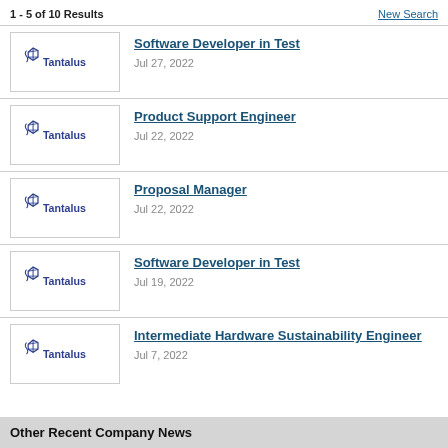1 - 5 of 10 Results
New Search
Software Developer in Test — Jul 27, 2022
Product Support Engineer — Jul 22, 2022
Proposal Manager — Jul 22, 2022
Software Developer in Test — Jul 19, 2022
Intermediate Hardware Sustainability Engineer — Jul 7, 2022
Other Recent Company News